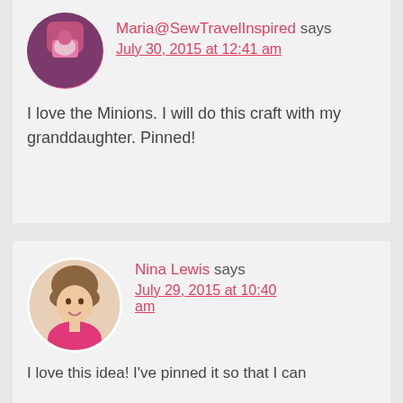[Figure (photo): Circular avatar with purple/pink colors, top portion cut off]
Maria@SewTravelInspired says
July 30, 2015 at 12:41 am
I love the Minions. I will do this craft with my granddaughter. Pinned!
[Figure (photo): Circular avatar showing woman with brown hair wearing pink top, smiling]
Nina Lewis says
July 29, 2015 at 10:40 am
I love this idea! I've pinned it so that I can